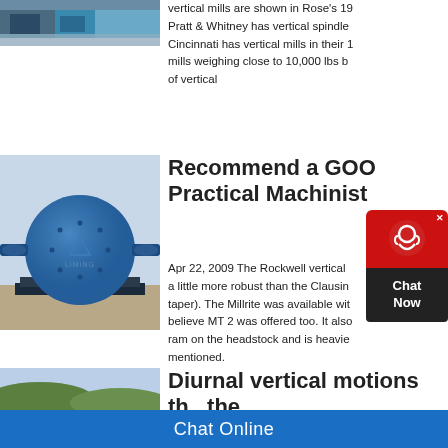[Figure (photo): Partial view of industrial machinery or construction site with blue equipment]
vertical mills are shown in Rose's 19… Pratt & Whitney has vertical spindle… Cincinnati has vertical mills in their … mills weighing close to 10,000 lbs b… of vertical
[Figure (photo): Blue ball mill (cylindrical grinding machine) branded LIMING on a metal frame, outdoors]
Recommend a GOO… Practical Machinist
Apr 22, 2009 The Rockwell vertical… a little more robust than the Clausin… taper). The Millrite was available wit… believe MT 2 was offered too. It also… ram on the headstock and is heavie… mentioned.
[Figure (photo): Partial landscape photo with hills and sky, green hills visible]
Diurnal vertical motions…
Chat Online